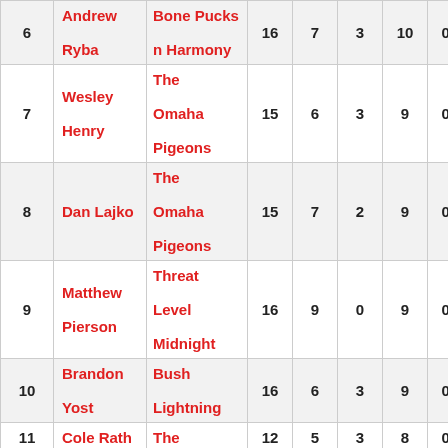| # | Name | Team | GP | W | L | Pts | Pct | OTL |
| --- | --- | --- | --- | --- | --- | --- | --- | --- |
| 6 | Andrew Ryba | Bone Pucks n Harmony | 16 | 7 | 3 | 10 | 0.63 | 0 |
| 7 | Wesley Henry | The Omaha Pigeons | 15 | 6 | 3 | 9 | 0.60 | 0 |
| 8 | Dan Lajko | The Omaha Pigeons | 15 | 7 | 2 | 9 | 0.60 | 2 |
| 9 | Matthew Pierson | Threat Level Midnight | 16 | 9 | 0 | 9 | 0.56 | 0 |
| 10 | Brandon Yost | Bush Lightning | 16 | 6 | 3 | 9 | 0.56 | 2 |
| 11 | Cole Rath | The | 12 | 5 | 3 | 8 | 0.67 | 0 |